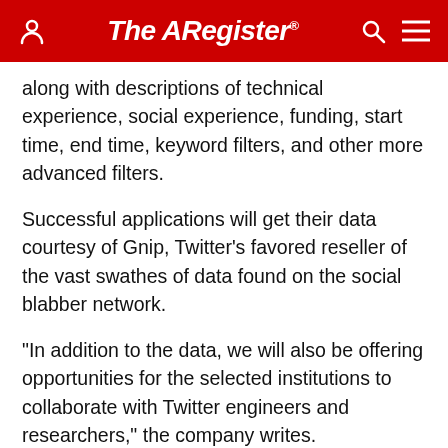The Register®
along with descriptions of technical experience, social experience, funding, start time, end time, keyword filters, and other more advanced filters.
Successful applications will get their data courtesy of Gnip, Twitter's favored reseller of the vast swathes of data found on the social blabber network.
"In addition to the data, we will also be offering opportunities for the selected institutions to collaborate with Twitter engineers and researchers," the company writes.
Applicants have until the 15th of March to apply. ®